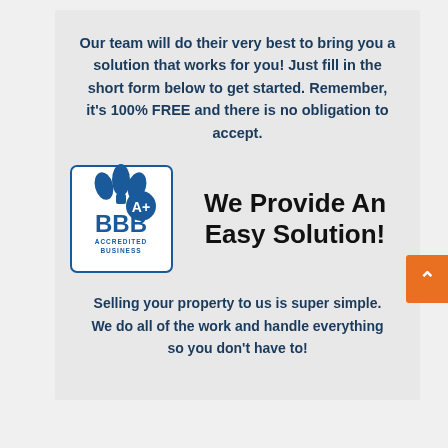Our team will do their very best to bring you a solution that works for you! Just fill in the short form below to get started. Remember, it's 100% FREE and there is no obligation to accept.
[Figure (logo): BBB Accredited Business A+ logo in blue and white]
We Provide An Easy Solution!
Selling your property to us is super simple. We do all of the work and handle everything so you don't have to!